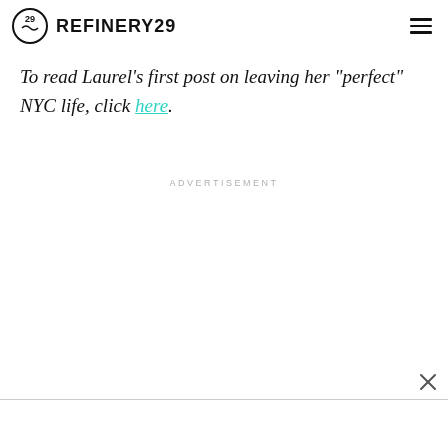REFINERY29
To read Laurel's first post on leaving her "perfect" NYC life, click here.
ADVERTISEMENT